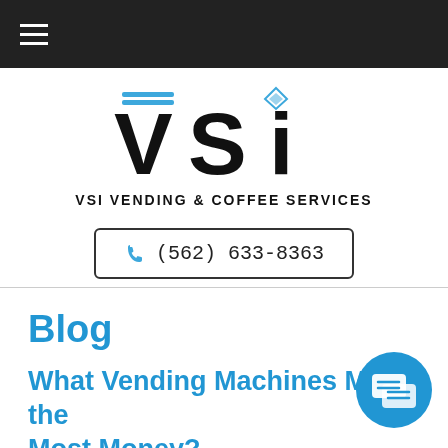Navigation bar with hamburger menu
[Figure (logo): VSI Vending & Coffee Services logo — large bold stylized 'VSi' letters with a diamond icon above the 'i', with two blue horizontal stripes above 'V'. Subtitle text: VSI VENDING & COFFEE SERVICES]
(562) 633-8363
Blog
What Vending Machines Make the Most Money?
[Figure (illustration): Blue circular chat/message bubble icon button in lower right]